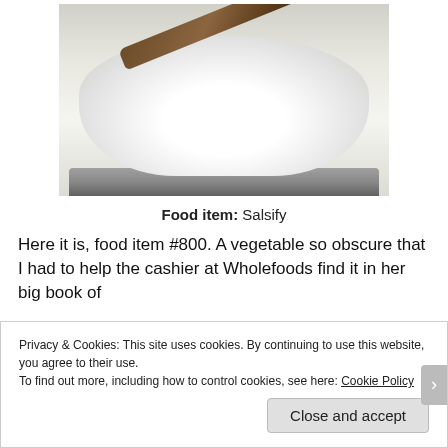[Figure (photo): Photo of a large white plastic bag or wrapped package sitting on a dark tray, with a long dark brown stick or root (salsify) laid diagonally across the top of it, on a light countertop background.]
Food item: Salsify
Here it is, food item #800. A vegetable so obscure that I had to help the cashier at Wholefoods find it in her big book of
Privacy & Cookies: This site uses cookies. By continuing to use this website, you agree to their use.
To find out more, including how to control cookies, see here: Cookie Policy
Close and accept